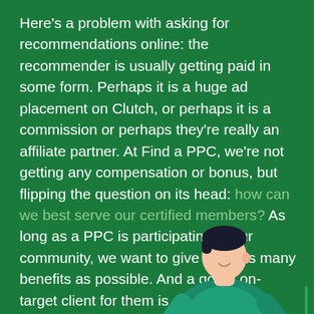Here's a problem with asking for recommendations online: the recommender is usually getting paid in some form. Perhaps it is a huge ad placement on Clutch, or perhaps it is a commission or perhaps they're really an affiliate partner. At Find a PPC, we're not getting any compensation or bonus, but flipping the question on its head: how can we best serve our certified members? As long as a PPC is participating in our community, we want to give them as many benefits as possible. And a good, on-target client for them is a great benefit, isn't it? We think so!
[Figure (illustration): Illustration of a person sitting at a laptop computer, depicted in teal/green tones on a dark green background]